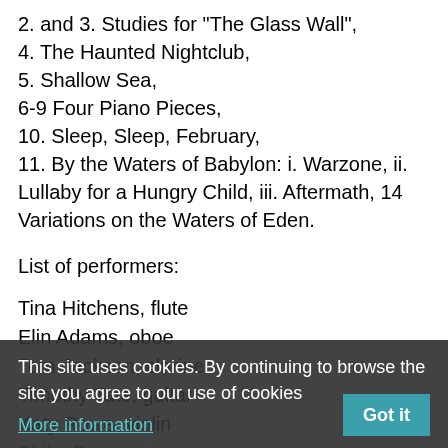2. and 3. Studies for "The Glass Wall",
4. The Haunted Nightclub,
5. Shallow Sea,
6-9 Four Piano Pieces,
10. Sleep, Sleep, February,
11. By the Waters of Babylon: i. Warzone, ii. Lullaby for a Hungry Child, iii. Aftermath, 14 Variations on the Waters of Eden.
List of performers:
Tina Hitchens, flute
Elin Adams, oboe
Tom Jackson, clarinet
Timothy Tate, guitar
Katy Rowe, violin
Philip Reynolds, viola
Jimmy Otley, cello
Stephen Craig, piano
Andrew Wilson-Dickson, piano
This site uses cookies. By continuing to browse the site you agree to our use of cookies